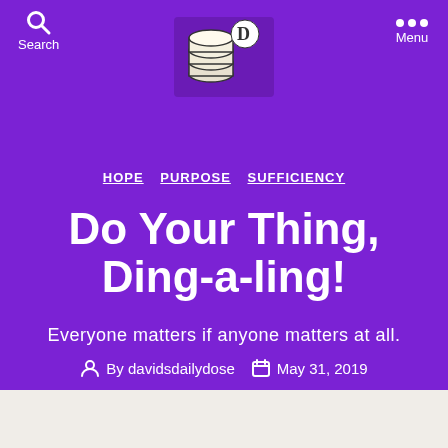Search | Menu
[Figure (logo): Blog logo with coins and letter D on purple background]
HOPE PURPOSE SUFFICIENCY
Do Your Thing, Ding-a-ling!
Everyone matters if anyone matters at all.
By davidsdailydose  May 31, 2019